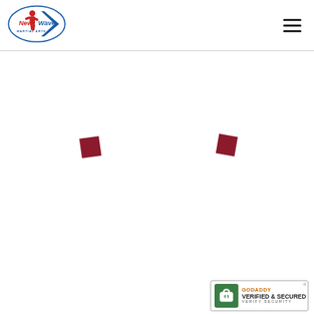[Figure (logo): New Wave Martial Arts logo with a figure and wave design in red and blue]
[Figure (other): Hamburger menu icon (three horizontal lines)]
[Figure (other): Two small dark red rotated squares positioned in the middle of the page, acting as decorative quote mark elements]
[Figure (other): GoDaddy Verified & Secured badge in the bottom right corner]